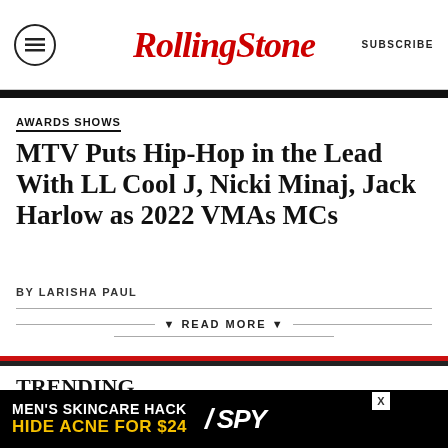RollingStone | SUBSCRIBE
AWARDS SHOWS
MTV Puts Hip-Hop in the Lead With LL Cool J, Nicki Minaj, Jack Harlow as 2022 VMAs MCs
BY LARISHA PAUL
▼ READ MORE ▼
TRENDING
1  Liz Cheney Leaks Audio Contradicting Trump-
[Figure (screenshot): Advertisement banner: MEN'S SKINCARE HACK / HIDE ACNE FOR $24 with SPY logo]